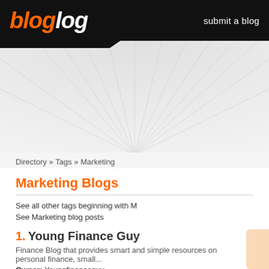bloglog — submit a blog
Directory » Tags » Marketing
Marketing Blogs
See all other tags beginning with M
See Marketing blog posts
1. Young Finance Guy
Finance Blog that provides smart and simple resources on personal finance, small...
Owner: Youngfinanceguy
Listed in: Finance